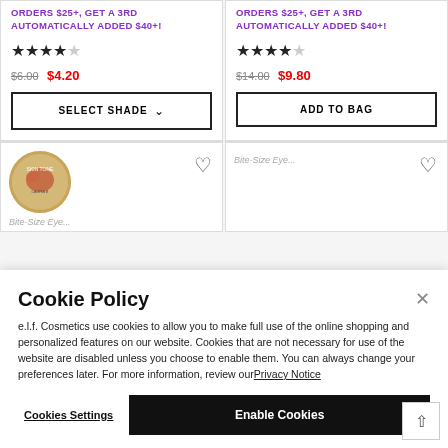ORDERS $25+, GET A 3RD AUTOMATICALLY ADDED $40+!
ORDERS $25+, GET A 3RD AUTOMATICALLY ADDED $40+!
★★★★☆ $6.00 $4.20
★★★★☆ $14.00 $9.80
SELECT SHADE
ADD TO BAG
[Figure (photo): Circular product compact with lip design]
Bite-Size Eye...
Bite-Size Eye...
Cookie Policy
e.l.f. Cosmetics use cookies to allow you to make full use of the online shopping and personalized features on our website. Cookies that are not necessary for use of the website are disabled unless you choose to enable them. You can always change your preferences later. For more information, review our Privacy Notice
Cookies Settings
Enable Cookies